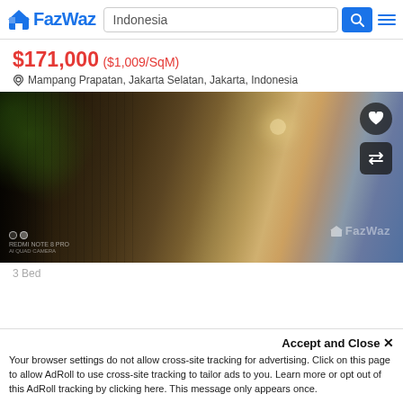FazWaz | Indonesia
$171,000 ($1,009/SqM)
Mampang Prapatan, Jakarta Selatan, Jakarta, Indonesia
[Figure (photo): Interior corridor of an apartment building with green plants hanging from balconies on the left side and a wide hallway on the right, watermarked with FazWaz logo]
3 Bed
Accept and Close ✕
Your browser settings do not allow cross-site tracking for advertising. Click on this page to allow AdRoll to use cross-site tracking to tailor ads to you. Learn more or opt out of this AdRoll tracking by clicking here. This message only appears once.